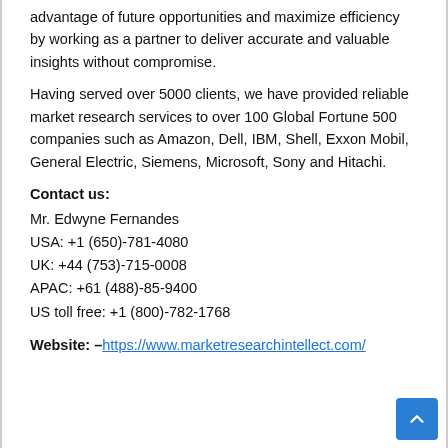advantage of future opportunities and maximize efficiency by working as a partner to deliver accurate and valuable insights without compromise.
Having served over 5000 clients, we have provided reliable market research services to over 100 Global Fortune 500 companies such as Amazon, Dell, IBM, Shell, Exxon Mobil, General Electric, Siemens, Microsoft, Sony and Hitachi.
Contact us:
Mr. Edwyne Fernandes
USA: +1 (650)-781-4080
UK: +44 (753)-715-0008
APAC: +61 (488)-85-9400
US toll free: +1 (800)-782-1768
Website: – https://www.marketresearchintellect.com/